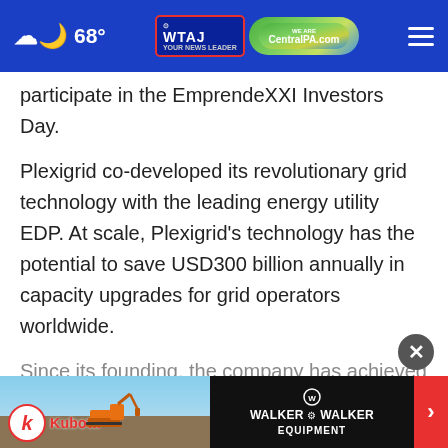68° WTAJ CentralPA.com
participate in the EmprendeXXI Investors Day.
Plexigrid co-developed its revolutionary grid technology with the leading energy utility EDP. At scale, Plexigrid's technology has the potential to save USD300 billion annually in capacity upgrades for grid operators worldwide.
Since its founding, the company has achieved a series of rapid successes, including multiple awards and a successful USD2 million fundraising...
[Figure (screenshot): Advertisement banner for Kubota and Walker & Walker Equipment at bottom of page]